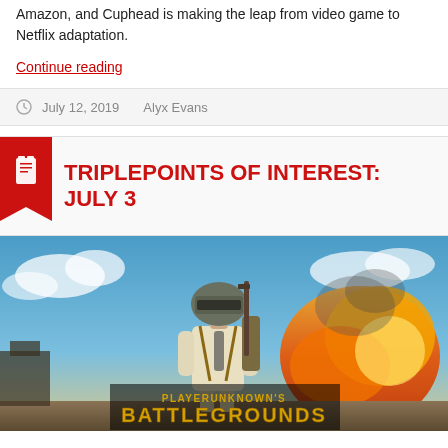Amazon, and Cuphead is making the leap from video game to Netflix adaptation.
Continue reading
July 12, 2019   Alyx Evans
TRIPLEPOINTS OF INTEREST: JULY 3
[Figure (photo): PLAYERUNKNOWN'S BATTLEGROUNDS promotional art showing an armored soldier with helmet and backpack standing in front of a large explosion, with the game logo displayed at the bottom.]